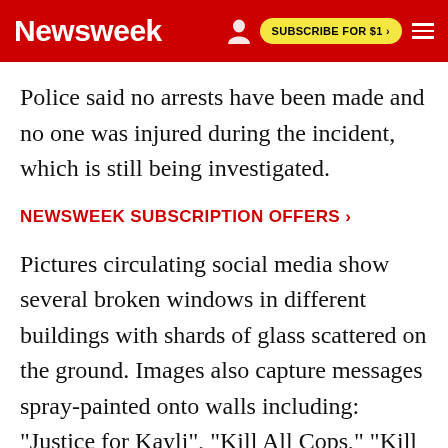Newsweek — SUBSCRIBE FOR $1 >
Police said no arrests have been made and no one was injured during the incident, which is still being investigated.
NEWSWEEK SUBSCRIPTION OFFERS >
Pictures circulating social media show several broken windows in different buildings with shards of glass scattered on the ground. Images also capture messages spray-painted onto walls including: "Justice for Kayli", "Kill All Cops," "Kill KKKops" and "Death to